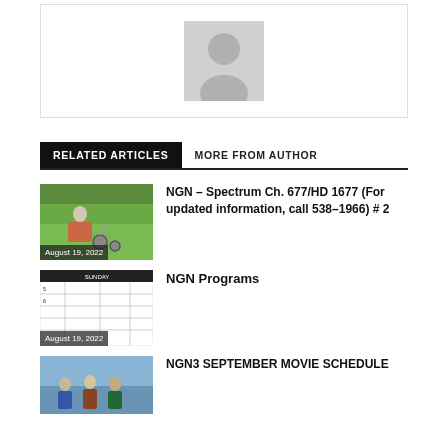[Figure (illustration): Avatar placeholder image with grey background and white silhouette person icon]
RELATED ARTICLES   MORE FROM AUTHOR
[Figure (photo): Photo of people outdoors with green trees, date label August 19, 2022]
NGN – Spectrum Ch. 677/HD 1677 (For updated information, call 538–1966) # 2
[Figure (screenshot): Screenshot of NGN program schedule table, date label August 19, 2022]
NGN Programs
[Figure (photo): Photo of group of people]
NGN3 SEPTEMBER MOVIE SCHEDULE